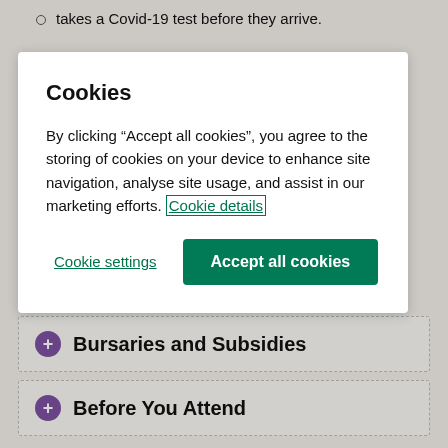takes a Covid-19 test before they arrive.
Cookies
By clicking “Accept all cookies”, you agree to the storing of cookies on your device to enhance site navigation, analyse site usage, and assist in our marketing efforts. Cookie details
Cookie settings
Accept all cookies
Bursaries and Subsidies
Before You Attend